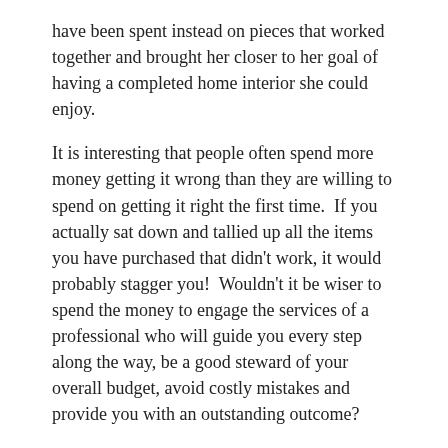have been spent instead on pieces that worked together and brought her closer to her goal of having a completed home interior she could enjoy.
It is interesting that people often spend more money getting it wrong than they are willing to spend on getting it right the first time.  If you actually sat down and tallied up all the items you have purchased that didn't work, it would probably stagger you!  Wouldn't it be wiser to spend the money to engage the services of a professional who will guide you every step along the way, be a good steward of your overall budget, avoid costly mistakes and provide you with an outstanding outcome?
Myth 2: Working with an Interior Designer Takes Too Much Time